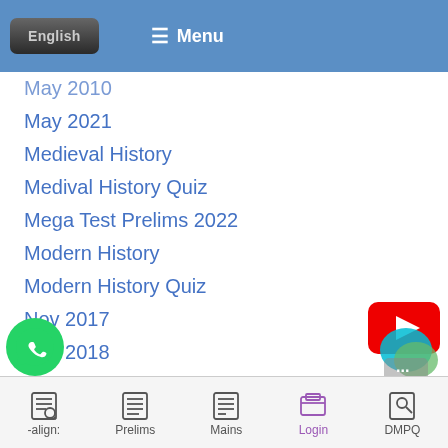English  ≡ Menu
May 2010 (partially visible)
May 2021
Medieval History
Medival History Quiz
Mega Test Prelims 2022
Modern History
Modern History Quiz
Nov 2017
Nov 2018
nov 2019
November 2021
ct 17
[Figure (logo): YouTube play button icon (red rectangle with white triangle)]
[Figure (logo): WhatsApp green circle with phone icon]
[Figure (logo): Chat bubble icon with ellipsis]
-align:   Prelims   Mains   Login   DMPQ